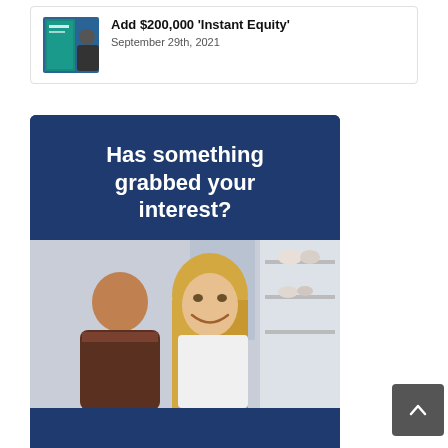[Figure (infographic): Card with thumbnail image of a man and text about Add $200,000 Instant Equity dated September 29th, 2021]
Add $200,000 ‘Instant Equity’
September 29th, 2021
[Figure (infographic): Dark navy blue banner with bold white text reading 'Has something grabbed your interest?' above a photo of a smiling couple in a kitchen]